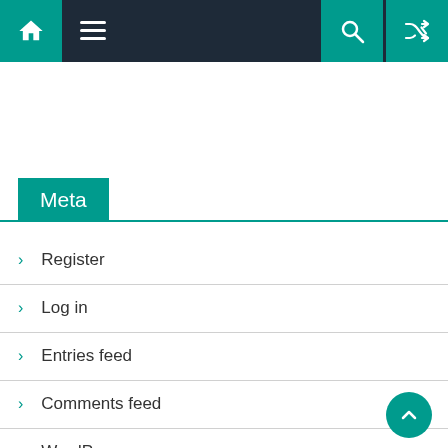Navigation bar with home, menu, search, and shuffle icons
Meta
Register
Log in
Entries feed
Comments feed
WordPress.org